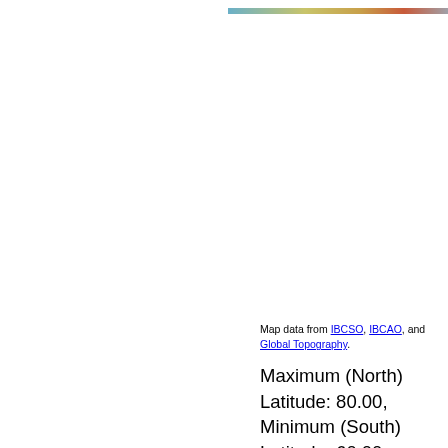[Figure (other): Partial color bar or map legend strip visible at top right of the page]
Map data from IBCSO, IBCAO, and Global Topography.
Maximum (North) Latitude: 80.00, Minimum (South) Latitude: 60.00 Minimum (West)